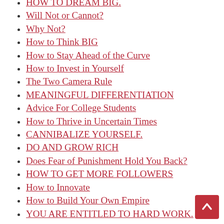HOW TO DREAM BIG.
Will Not or Cannot?
Why Not?
How to Think BIG
How to Stay Ahead of the Curve
How to Invest in Yourself
The Two Camera Rule
MEANINGFUL DIFFERENTIATION
Advice For College Students
How to Thrive in Uncertain Times
CANNIBALIZE YOURSELF.
DO AND GROW RICH
Does Fear of Punishment Hold You Back?
HOW TO GET MORE FOLLOWERS
How to Innovate
How to Build Your Own Empire
YOU ARE ENTITLED TO HARD WORK.